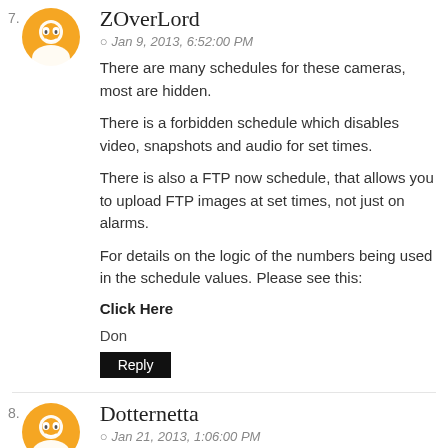7. ZOverLord
Jan 9, 2013, 6:52:00 PM
There are many schedules for these cameras, most are hidden.
There is a forbidden schedule which disables video, snapshots and audio for set times.
There is also a FTP now schedule, that allows you to upload FTP images at set times, not just on alarms.
For details on the logic of the numbers being used in the schedule values. Please see this:
Click Here
Don
Reply
8. Dotternetta
Jan 21, 2013, 1:06:00 PM
Thank you for the information! I will try to change my schedules. The problem with java was unsolvable for me